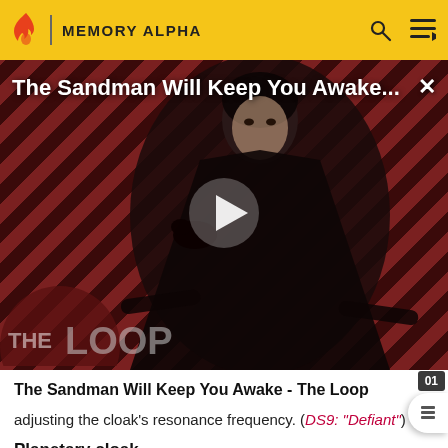MEMORY ALPHA
[Figure (screenshot): Video thumbnail showing a dark-cloaked figure against a diagonal red and black striped background with THE LOOP logo overlay and a play button in the center. Title overlay reads 'The Sandman Will Keep You Awake...' with an X close button.]
The Sandman Will Keep You Awake - The Loop
adjusting the cloak's resonance frequency. (DS9: "Defiant")
Planetary cloak